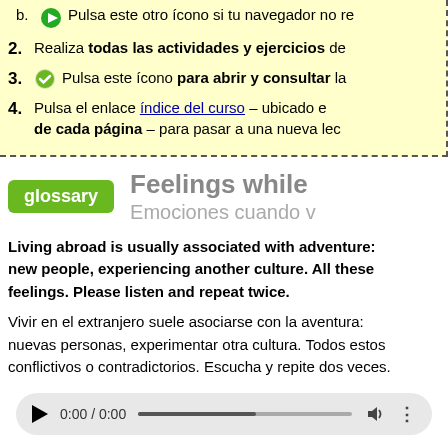b. Pulsa este otro ícono si tu navegador no re
2. Realiza todas las actividades y ejercicios de
3. Pulsa este ícono para abrir y consultar la
4. Pulsa el enlace índice del curso – ubicado en – de cada página – para pasar a una nueva lec
glossary
Feelings while... Emociones cuando v
Living abroad is usually associated with adventure: new people, experiencing another culture. All these feelings. Please listen and repeat twice.
Vivir en el extranjero suele asociarse con la aventura: nuevas personas, experimentar otra cultura. Todos estos conflictivos o contradictorios. Escucha y repite dos veces.
[Figure (other): Audio player showing 0:00 / 0:00 with play button, progress bar, volume and more options icons]